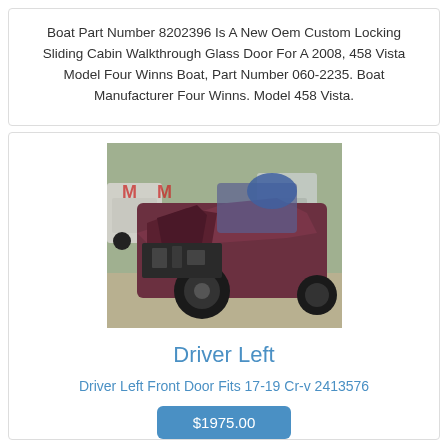Boat Part Number 8202396 Is A New Oem Custom Locking Sliding Cabin Walkthrough Glass Door For A 2008, 458 Vista Model Four Winns Boat, Part Number 060-2235. Boat Manufacturer Four Winns. Model 458 Vista.
[Figure (photo): Photo of a heavily damaged dark red/maroon car in a junkyard, with front-end collision damage, surrounded by other vehicles.]
Driver Left
Driver Left Front Door Fits 17-19 Cr-v 2413576
$1975.00